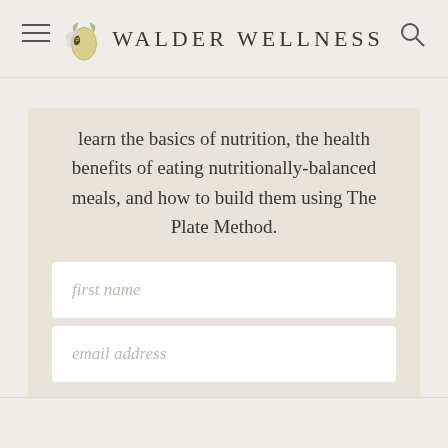WALDER WELLNESS
learn the basics of nutrition, the health benefits of eating nutritionally-balanced meals, and how to build them using The Plate Method.
first name
email address
SIGN UP